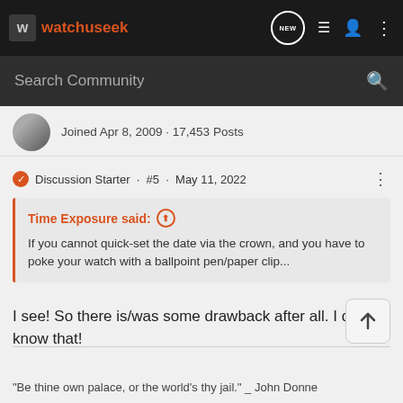watchuseek
Search Community
Joined Apr 8, 2009 · 17,453 Posts
Discussion Starter · #5 · May 11, 2022
Time Exposure said: ↑
If you cannot quick-set the date via the crown, and you have to poke your watch with a ballpoint pen/paper clip...
I see! So there is/was some drawback after all. I did not know that!
"Be thine own palace, or the world's thy jail." _ John Donne